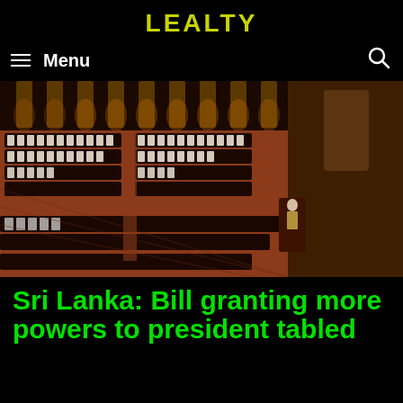LEALTY
Menu
[Figure (photo): Aerial view of Sri Lanka Parliament chamber with members seated in rows of desks, ornate wooden interior with warm lighting, photographed from above]
Sri Lanka: Bill granting more powers to president tabled